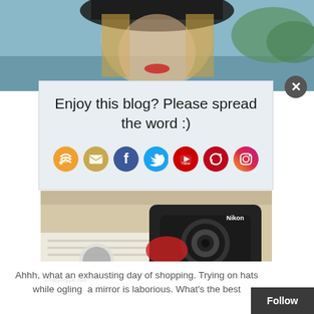[Figure (photo): Top portion of a person wearing a black hat with red lips, smiling outdoors]
Enjoy this blog? Please spread the word :)
[Figure (infographic): Social sharing icons: RSS (orange), Email (tan/gold), Facebook (blue), Twitter (teal), YouTube (red), Pinterest (red), Instagram (purple/gradient)]
[Figure (photo): Photo of a Nikon camera and photography equipment in a bag with a notebook]
©PrettyGripple.com
Ahhh, what an exhausting day of shopping. Trying on hats while ogling a mirror is laborious. What's the best